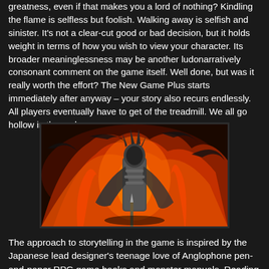greatness, even if that makes you a lord of nothing? Kindling the flame is selfless but foolish. Walking away is selfish and sinister. It's not a clear-cut good or bad decision, but it holds weight in terms of how you wish to view your character. Its broader meaninglessness may be another ludonarratively consonant comment on the game itself. Well done, but was it really worth the effort? The New Game Plus starts immediately after anyway – your story also recurs endlessly. All players eventually have to get of the treadmill. We all go hollow in the end.
[Figure (illustration): A dark fantasy illustration showing an armored warrior figure with a spear/lance, surrounded by swirling flames and dark energy in shades of red, orange, and black. The figure appears weathered and battle-worn against a fiery backdrop.]
The approach to storytelling in the game is inspired by the Japanese lead designer's teenage love of Anglophone pen-and-paper RPG game books and monster manuals. Reading